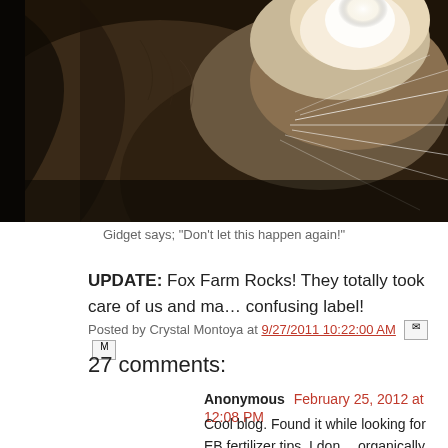[Figure (photo): Close-up photo of an animal (likely a cat or goat) with fur and whiskers visible, bright backlight creating a halo effect]
Gidget says; "Don't let this happen again!"
UPDATE: Fox Farm Rocks! They totally took care of us and ma... confusing label!
Posted by Crystal Montoya at 9/27/2011 10:22:00 AM
27 comments:
Anonymous  February 25, 2012 at 12:08 PM
Cool blog. Found it while looking for EB fertilizer tips. I don... organically, but I try to keep it natural and avoid Monsanto p... for the Fox Farms stuff in the future! Thanks.
Reply